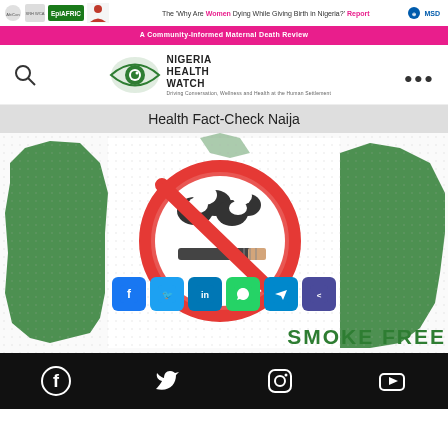The 'Why Are Women Dying While Giving Birth in Nigeria?' Report | A Community-Informed Maternal Death Review
[Figure (logo): Nigeria Health Watch logo with eye icon]
Health Fact-Check Naija
[Figure (illustration): Nigeria map outline in green and white with a no-smoking symbol (red circle with diagonal bar over smoking figure) overlaid in the center, and 'SMOKE FREE' text at the bottom. Social share buttons (Facebook, Twitter, LinkedIn, WhatsApp, Telegram, Share) shown at lower center.]
Social media footer icons: Facebook, Twitter, Instagram, YouTube